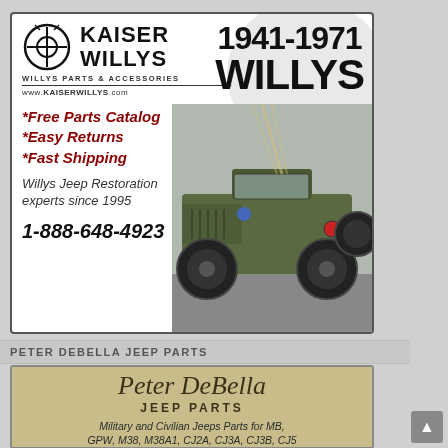[Figure (infographic): Kaiser Willys advertisement with logo, bullet points, phone number, and photo of a Willys Jeep. Includes text: 1941-1971 WILLYS, KAISER WILLYS, WILLYS PARTS & ACCESSORIES, www.KAISERWILLYS.com, *Free Parts Catalog, *Easy Returns, *Fast Shipping, Willys Jeep Restoration experts since 1995, 1-888-648-4923]
PETER DEBELLA JEEP PARTS
[Figure (infographic): Peter DeBella Jeep Parts advertisement with script logo and text: Military and Civilian Jeeps Parts for MB, GPW, M38, M38A1, CJ2A, CJ3A, CJ3B, CJ5 Your one stop shop for OEM, NOS, and High Quality Reproduction Parts]